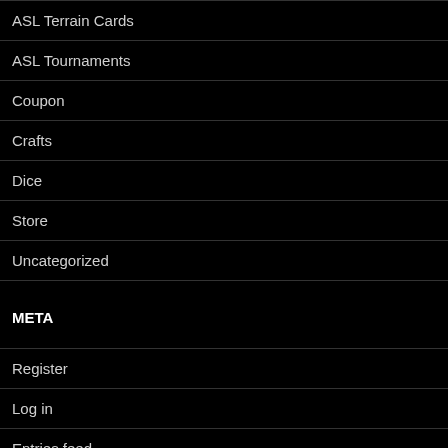ASL Terrain Cards
ASL Tournaments
Coupon
Crafts
Dice
Store
Uncategorized
META
Register
Log in
Entries feed